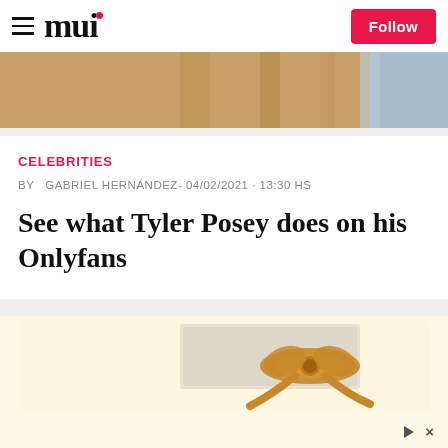mui
[Figure (photo): Partial photo of a person wearing a tan/brown jacket, cropped at torso level, with blue background on right]
CELEBRITIES
BY  GABRIEL HERNÁNDEZ- 04/02/2021 · 13:30 HS
See what Tyler Posey does on his Onlyfans
[Figure (photo): Advertisement image showing a golden scroll or ribbon with paper and decorative gold bow against a pale yellow background]